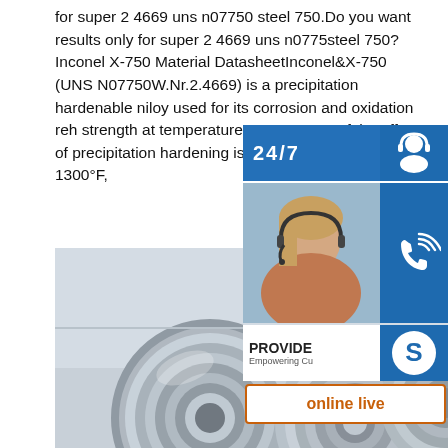for super 2 4669 uns n07750 steel 750.Do you want results only for super 2 4669 uns n0775steel 750?Inconel X-750 Material DatasheetInconel&X-750 (UNS N07750W.Nr.2.4669) is a precipitation hardenable nioy used for its corrosion and oxidation reh strength at temperatures up to 1300°F.f the effect of precipitation hardening is long temperature over 1300°F,
[Figure (infographic): Sidebar overlay showing 24/7 support icons: headset customer service icon, phone icon, Skype icon, online live support button, with a photo of a woman wearing a headset]
[Figure (photo): Photo of shiny metallic coils/rolls of Inconel X-750 steel strip material stacked together]